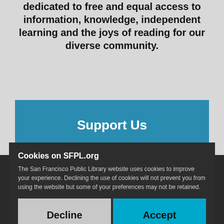dedicated to free and equal access to information, knowledge, independent learning and the joys of reading for our diverse community.
[Figure (screenshot): Blue 'Support Us' button on a library website]
Cookies on SFPL.org
The San Francisco Public Library website uses cookies to improve your experience. Declining the use of cookies will not prevent you from using the website but some of your preferences may not be retained.
Decline
Accept